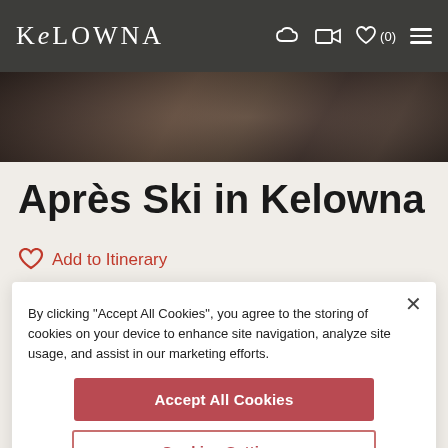Kelowna
[Figure (photo): Dark blurred hero image showing ski/winter apres scene]
Après Ski in Kelowna
Add to Itinerary
By clicking "Accept All Cookies", you agree to the storing of cookies on your device to enhance site navigation, analyze site usage, and assist in our marketing efforts.
Accept All Cookies
Cookies Settings